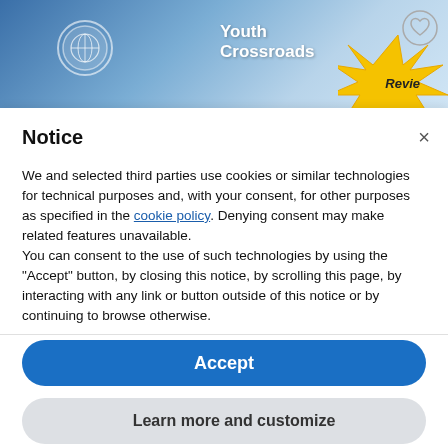[Figure (screenshot): Youth Crossroads website banner with blue gradient background, organization logo circle on left, 'Youth Crossroads' text in white, and a yellow sunburst graphic on the right with 'Review' text partially visible. A heart/favorite icon circle appears in the top right corner.]
Notice
We and selected third parties use cookies or similar technologies for technical purposes and, with your consent, for other purposes as specified in the cookie policy. Denying consent may make related features unavailable.
You can consent to the use of such technologies by using the “Accept” button, by closing this notice, by scrolling this page, by interacting with any link or button outside of this notice or by continuing to browse otherwise.
Accept
Learn more and customize